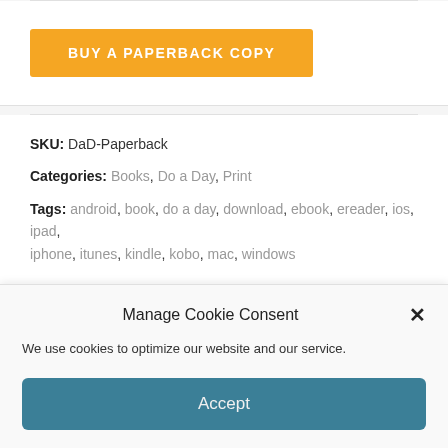[Figure (other): Orange 'BUY A PAPERBACK COPY' button]
SKU: DaD-Paperback
Categories: Books, Do a Day, Print
Tags: android, book, do a day, download, ebook, ereader, ios, ipad, iphone, itunes, kindle, kobo, mac, windows
Manage Cookie Consent
We use cookies to optimize our website and our service.
[Figure (other): Teal 'Accept' button for cookie consent]